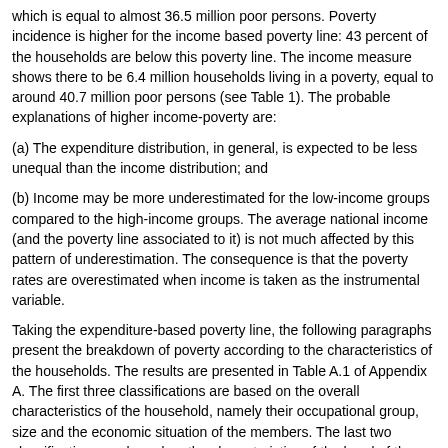which is equal to almost 36.5 million poor persons. Poverty incidence is higher for the income based poverty line: 43 percent of the households are below this poverty line. The income measure shows there to be 6.4 million households living in a poverty, equal to around 40.7 million poor persons (see Table 1). The probable explanations of higher income-poverty are:
(a) The expenditure distribution, in general, is expected to be less unequal than the income distribution; and
(b) Income may be more underestimated for the low-income groups compared to the high-income groups. The average national income (and the poverty line associated to it) is not much affected by this pattern of underestimation. The consequence is that the poverty rates are overestimated when income is taken as the instrumental variable.
Taking the expenditure-based poverty line, the following paragraphs present the breakdown of poverty according to the characteristics of the households. The results are presented in Table A.1 of Appendix A. The first three classifications are based on the overall characteristics of the household, namely their occupational group, size and the economic situation of the members. The last two classifications are based on the characteristics of the head of the household pertaining to their educational attainment and the sector of economic activity.
The first classification, the occupational group of the household, is obtained by aggregating the International Standard Classification of Occupation (ISCO) given at one-digit level. It is found that the group of agricultural, animal housbandry and forest workers is the poorest of all: 45 percent of the households is poor in this group. The other group with significantly high poverty is the households occupied as production